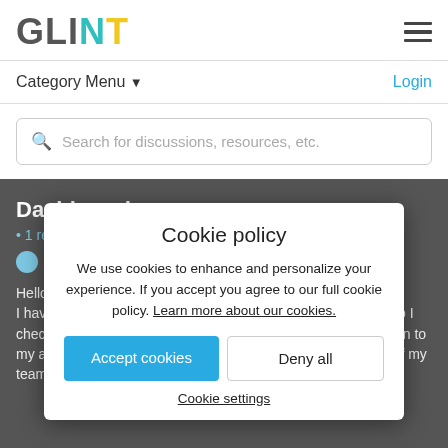GLINT [logo] | hamburger menu
Category Menu ▾   Login
Search for discussions, resources, etc.
Dashboard
• 1 reply
eoimaku
Hello Glint Su...
I have joined recently as Line Manager. Pls guide me , How Do I check my dashboard... survey completed in my unit. While login to my account , I am unable to see % survey completion status of my team
[Figure (screenshot): Cookie policy modal overlay with Accept cookies and Deny all buttons, and Cookie settings link]
Cookie policy
We use cookies to enhance and personalize your experience. If you accept you agree to our full cookie policy. Learn more about our cookies.
Accept cookies
Deny all
Cookie settings